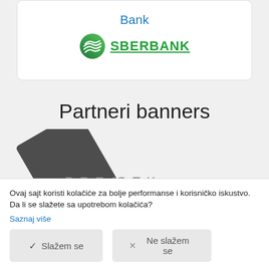Bank
[Figure (logo): Sberbank logo with green circular icon and underlined SBERBANK text in green]
Partneri banners
[Figure (logo): PRESEK brand logo with a dark rotated card/diamond shape and stylized text PRESEK]
Ovaj sajt koristi kolačiće za bolje performanse i korisničko iskustvo. Da li se slažete sa upotrebom kolačića?
Saznaj više
Slažem se
Ne slažem se